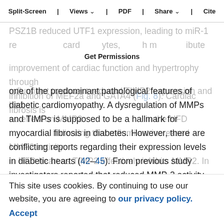Split-Screen | Views | PDF | Share | Cite
Get Permissions
one of the predominant pathological features of diabetic cardiomyopathy. A dysregulation of MMPs and TIMPs is supposed to be a hallmark for myocardial fibrosis in diabetes. However, there are conflicting reports regarding their expression levels in diabetic hearts (42–45). From previous study investigators reported that reduced MMP-2 activity contributes to cardiac fibrosis in diabetic cardiomyopathy (43). In the current study, the expression of MMP2 and TIMP2 was increased in HFD heart, while
This site uses cookies. By continuing to use our website, you are agreeing to our privacy policy. Accept